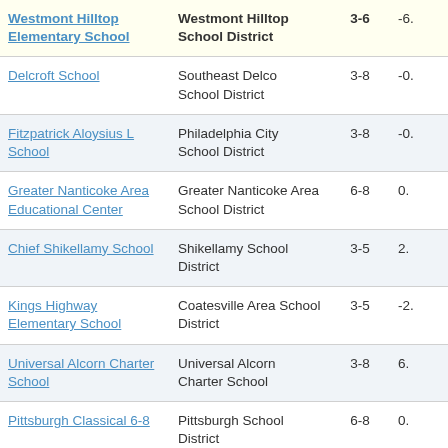| School | District | Grades | Value |
| --- | --- | --- | --- |
| Westmont Hilltop Elementary School | Westmont Hilltop School District | 3-6 | -6. |
| Delcroft School | Southeast Delco School District | 3-8 | -0. |
| Fitzpatrick Aloysius L School | Philadelphia City School District | 3-8 | -0. |
| Greater Nanticoke Area Educational Center | Greater Nanticoke Area School District | 6-8 | 0. |
| Chief Shikellamy School | Shikellamy School District | 3-5 | 2. |
| Kings Highway Elementary School | Coatesville Area School District | 3-5 | -2. |
| Universal Alcorn Charter School | Universal Alcorn Charter School | 3-8 | 6. |
| Pittsburgh Classical 6-8 | Pittsburgh School District | 6-8 | 0. |